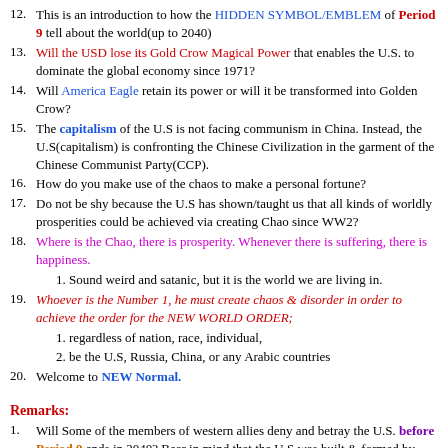12. This is an introduction to how the HIDDEN SYMBOL/EMBLEM of Period 9 tell about the world(up to 2040)
13. Will the USD lose its Gold Crow Magical Power that enables the U.S. to dominate the global economy since 1971?
14. Will America Eagle retain its power or will it be transformed into Golden Crow?
15. The capitalism of the U.S is not facing communism in China. Instead, the U.S(capitalism) is confronting the Chinese Civilization in the garment of the Chinese Communist Party(CCP).
16. How do you make use of the chaos to make a personal fortune?
17. Do not be shy because the U.S has shown/taught us that all kinds of worldly prosperities could be achieved via creating Chao since WW2?
18. Where is the Chao, there is prosperity. Whenever there is suffering, there is happiness.
1. Sound weird and satanic, but it is the world we are living in.
19. Whoever is the Number 1, he must create chaos & disorder in order to achieve the order for the NEW WORLD ORDER;
1. regardless of nation, race, individual,
2. be the U.S, Russia, China, or any Arabic countries
20. Welcome to NEW Normal.
Remarks:
1. Will Some of the members of western allies deny and betray the U.S. before Period 9 ends in 2040? Bear in mind that the U.S was built & formed by putting hand on the Bible as below :
1. Jesus *answered, "Will you lay down your life for Me? Truly,